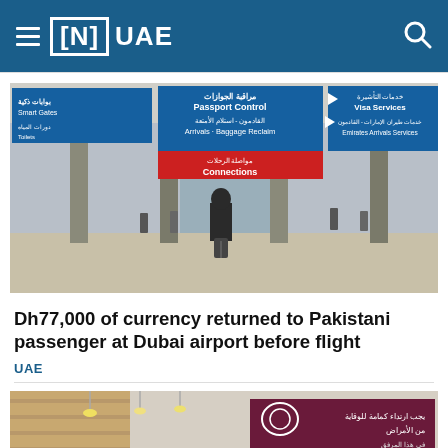≡ [N] UAE
[Figure (photo): Interior of Dubai International Airport terminal showing passengers, directional signage boards in Arabic and English (Passport Control, Arrivals - Baggage Reclaim, Connections, Smart Gates, Visa Services, Emirates Arrivals Services), columns, and a traveler with luggage in the foreground.]
Dh77,000 of currency returned to Pakistani passenger at Dubai airport before flight
UAE
[Figure (photo): Interior of a venue with pendant lights and a maroon sign with Arabic text.]